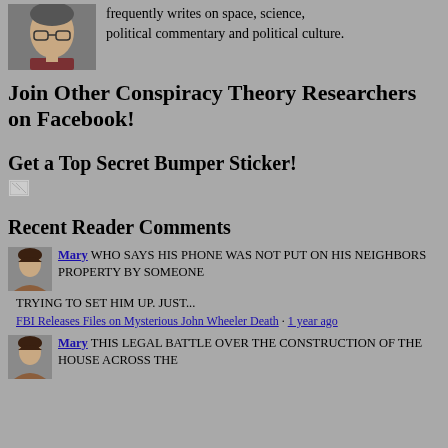[Figure (photo): Author headshot photo, middle-aged man with glasses]
frequently writes on space, science, political commentary and political culture.
Join Other Conspiracy Theory Researchers on Facebook!
Get a Top Secret Bumper Sticker!
[Figure (photo): Broken/missing image placeholder]
Recent Reader Comments
[Figure (photo): Comment avatar - Mary, woman with dark hair]
Mary WHO SAYS HIS PHONE WAS NOT PUT ON HIS NEIGHBORS PROPERTY BY SOMEONE TRYING TO SET HIM UP. JUST...
FBI Releases Files on Mysterious John Wheeler Death · 1 year ago
[Figure (photo): Comment avatar - Mary, woman with dark hair]
Mary THIS LEGAL BATTLE OVER THE CONSTRUCTION OF THE HOUSE ACROSS THE